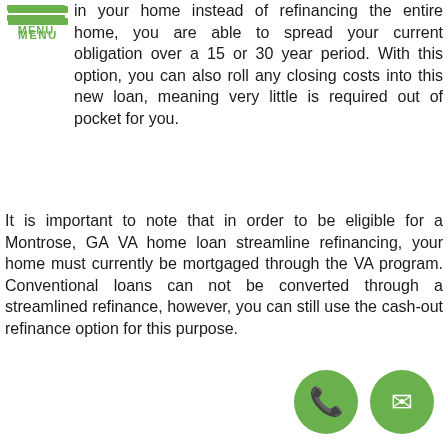MENU
in your home instead of refinancing the entire home, you are able to spread your current obligation over a 15 or 30 year period. With this option, you can also roll any closing costs into this new loan, meaning very little is required out of pocket for you.
It is important to note that in order to be eligible for a Montrose, GA VA home loan streamline refinancing, your home must currently be mortgaged through the VA program. Conventional loans can not be converted through a streamlined refinance, however, you can still use the cash-out refinance option for this purpose.
There are other reasons beyond reduced payments and lower mortgage rates that can make a streamline refinance an attractive choice. Those looking to change from an adjustable-rate mortgage to a fixed-rate mortgage, those who want to refinance to a short term loan, or those who have made home improvements they would like to finance in a new loan can all utilize a streamlined mortgage refinance.
[Figure (illustration): Green circular phone button (call to action)]
[Figure (illustration): Green circular email button (contact action)]